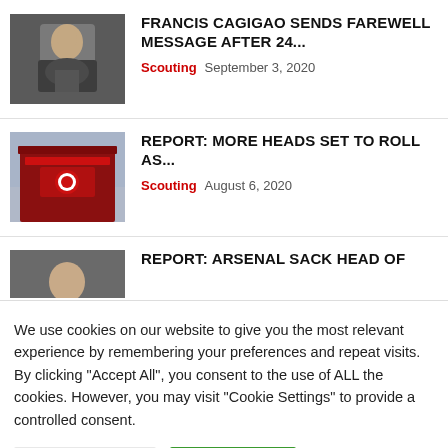[Figure (photo): Man in dark jacket with hand on chin, thinking pose]
FRANCIS CAGIGAO SENDS FAREWELL MESSAGE AFTER 24...
Scouting  September 3, 2020
[Figure (photo): Arsenal stadium exterior with logo sign]
REPORT: MORE HEADS SET TO ROLL AS...
Scouting  August 6, 2020
[Figure (photo): Person partially visible]
REPORT: ARSENAL SACK HEAD OF
We use cookies on our website to give you the most relevant experience by remembering your preferences and repeat visits. By clicking "Accept All", you consent to the use of ALL the cookies. However, you may visit "Cookie Settings" to provide a controlled consent.
Cookie Settings
Accept All